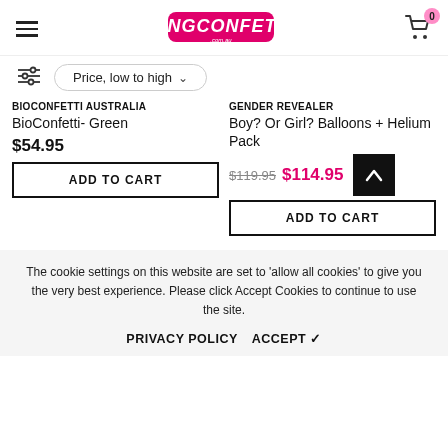[Figure (logo): KingConfetti.com.au logo in pink/red with stylized text]
Price, low to high
BIOCONFETTI AUSTRALIA
BioConfetti- Green
$54.95
ADD TO CART
GENDER REVEALER
Boy? Or Girl? Balloons + Helium Pack
$119.95  $114.95
ADD TO CART
The cookie settings on this website are set to ‘allow all cookies’ to give you the very best experience. Please click Accept Cookies to continue to use the site.
PRIVACY POLICY  ACCEPT ✓